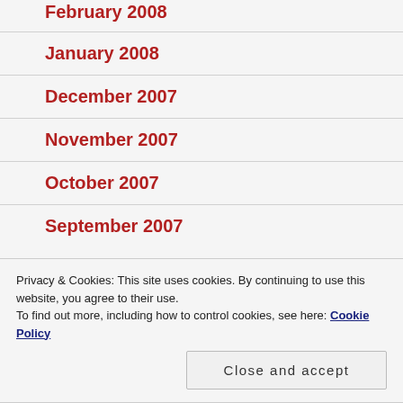February 2008
January 2008
December 2007
November 2007
October 2007
September 2007
Privacy & Cookies: This site uses cookies. By continuing to use this website, you agree to their use.
To find out more, including how to control cookies, see here: Cookie Policy
Close and accept